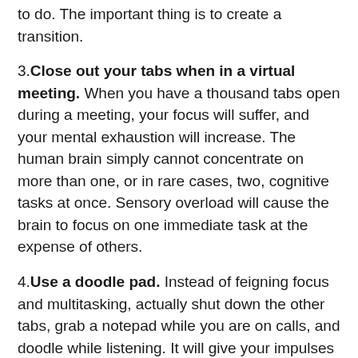to do. The important thing is to create a transition.
3. Close out your tabs when in a virtual meeting. When you have a thousand tabs open during a meeting, your focus will suffer, and your mental exhaustion will increase. The human brain simply cannot concentrate on more than one, or in rare cases, two, cognitive tasks at once. Sensory overload will cause the brain to focus on one immediate task at the expense of others.
4. Use a doodle pad. Instead of feigning focus and multitasking, actually shut down the other tabs, grab a notepad while you are on calls, and doodle while listening. It will give your impulses the needed distraction but in a way that isn't diverting your attention and thus, depleting your mental attention and focus.
5. Cushion your zoom calls. Pad your zoom calls with five to ten minute breaks to give your eyes and brain a